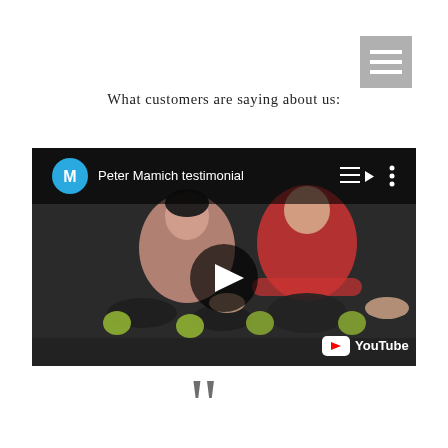[Figure (other): Hamburger menu icon — three white horizontal bars on a gray square background, positioned top-right corner]
What customers are saying about us:
[Figure (screenshot): YouTube video thumbnail showing two people sitting on a gym floor with fitness equipment. The video is titled 'Peter Mamich testimonial' with a channel avatar showing 'M' in a blue circle. A large play button is displayed in the center and the YouTube logo appears in the bottom-right corner.]
[Figure (other): Large double quotation mark symbol in dark gray, centered near the bottom of the page]